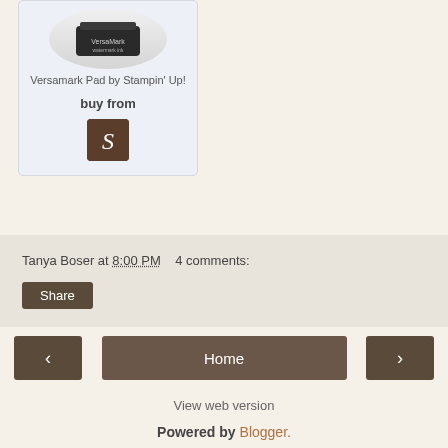[Figure (photo): Product card showing a Versamark ink pad (black square pad) on white/gray background, inside a light blue-gray rounded card]
Versamark Pad by Stampin' Up!
buy from
[Figure (logo): Brown square button with white italic letter S (Stampin' Up shop icon)]
Tanya Boser at 8:00 PM    4 comments:
Share
‹
Home
›
View web version
Powered by Blogger.